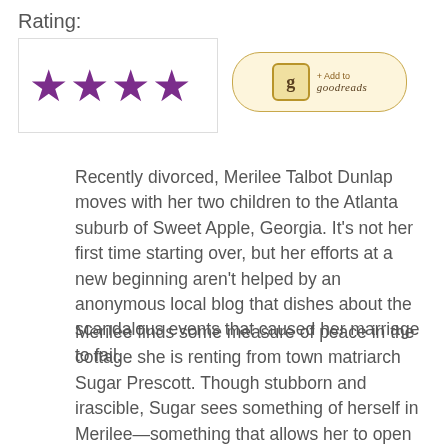Rating:
[Figure (other): Four purple filled stars rating display in a white bordered box]
[Figure (other): Goodreads badge button with 'g' logo and '+ Add to goodreads' text in a tan rounded border]
Recently divorced, Merilee Talbot Dunlap moves with her two children to the Atlanta suburb of Sweet Apple, Georgia. It's not her first time starting over, but her efforts at a new beginning aren't helped by an anonymous local blog that dishes about the scandalous events that caused her marriage to fail.
Merilee finds some measure of peace in the cottage she is renting from town matriarch Sugar Prescott. Though stubborn and irascible, Sugar sees something of herself in Merilee—something that allows her to open up about her own colorful past. Sugar's stories give Merilee a different perspective on the town and its wealthy school moms in their tennis whites and shiny SUVs, and even on her new friendship with Heather